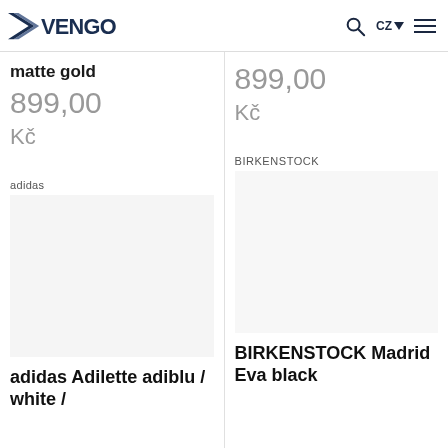VENGO | CZ | Navigation
matte gold
899,00
Kč
899,00
Kč
adidas
BIRKENSTOCK
adidas Adilette adiblu / white /
BIRKENSTOCK Madrid Eva black